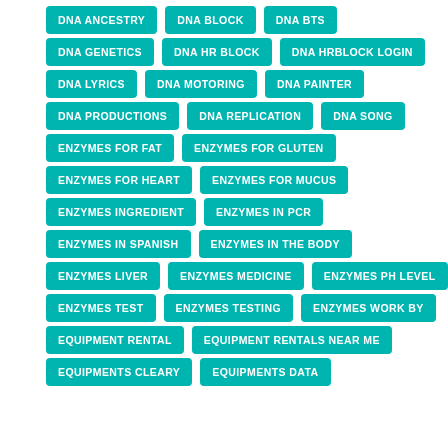DNA ANCESTRY
DNA BLOCK
DNA BTS
DNA GENETICS
DNA HR BLOCK
DNA HRBLOCK LOGIN
DNA LYRICS
DNA MOTORING
DNA PAINTER
DNA PRODUCTIONS
DNA REPLICATION
DNA SONG
ENZYMES FOR FAT
ENZYMES FOR GLUTEN
ENZYMES FOR HEART
ENZYMES FOR MUCUS
ENZYMES INGREDIENT
ENZYMES IN PCR
ENZYMES IN SPANISH
ENZYMES IN THE BODY
ENZYMES LIVER
ENZYMES MEDICINE
ENZYMES PH LEVEL
ENZYMES TEST
ENZYMES TESTING
ENZYMES WORK BY
EQUIPMENT RENTAL
EQUIPMENT RENTALS NEAR ME
EQUIPMENTS CLEARY
EQUIPMENTS DATA